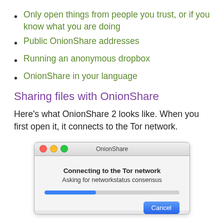Only open things from people you trust, or if you know what you are doing
Public OnionShare addresses
Running an anonymous dropbox
OnionShare in your language
Sharing files with OnionShare
Here's what OnionShare 2 looks like. When you first open it, it connects to the Tor network.
[Figure (screenshot): macOS application window showing OnionShare dialog with title bar buttons (red, yellow, green), window title 'OnionShare', bold text 'Connecting to the Tor network', subtitle 'Asking for networkstatus consensus', a progress bar partially filled in blue, and a blue Cancel button.]